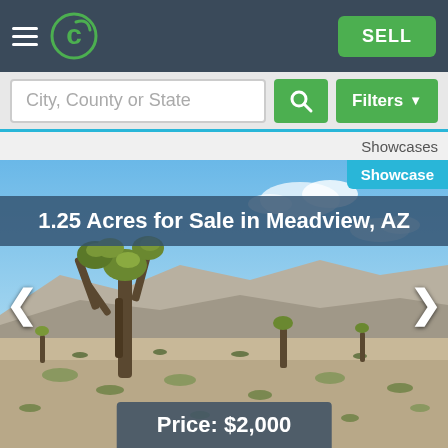SELL
City, County or State
Filters
Showcases
Showcase
1.25 Acres for Sale in Meadview, AZ
[Figure (photo): Desert landscape with Joshua trees, shrubs, and mountains in background under blue sky - Meadview AZ property listing]
Price: $2,000
CALL SELLER
ASK A QUESTION